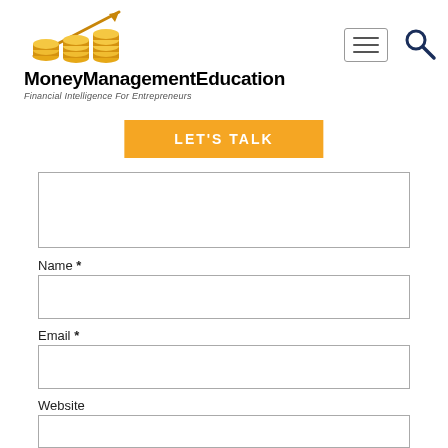[Figure (logo): MoneyManagementEducation logo with gold coins and upward arrow graphic]
MoneyManagementEducation
Financial Intelligence For Entrepreneurs
[Figure (screenshot): Navigation hamburger menu button icon (three horizontal lines in a box)]
[Figure (screenshot): Search magnifying glass icon]
LET'S TALK
Name *
Email *
Website